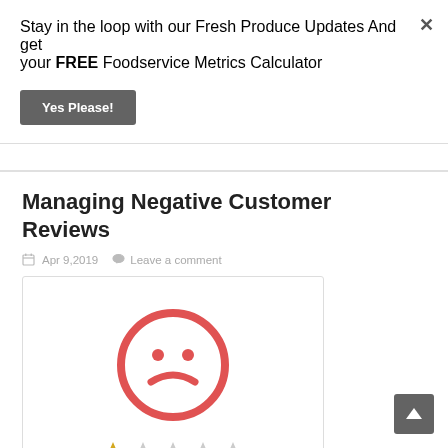Stay in the loop with our Fresh Produce Updates And get your FREE Foodservice Metrics Calculator
Yes Please!
Managing Negative Customer Reviews
Apr 9,2019    Leave a comment
[Figure (illustration): Sad face emoji in red circle with 1 out of 5 stars rating below]